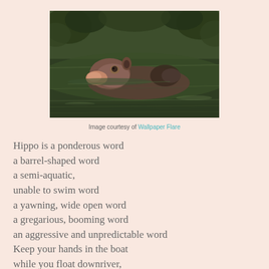[Figure (photo): A hippo partially submerged in dark green water, its head and back visible above the surface, photographed from the side.]
Image courtesy of Wallpaper Flare
Hippo is a ponderous word
a barrel-shaped word
a semi-aquatic,
unable to swim word
a yawning, wide open word
a gregarious, booming word
an aggressive and unpredictable word
Keep your hands in the boat
while you float downriver,
observing a bloat of
hipponotamuses and hipponotami